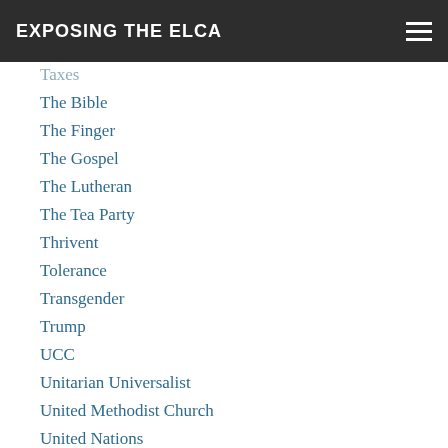EXPOSING THE ELCA
Taxes
The Bible
The Finger
The Gospel
The Lutheran
The Tea Party
Thrivent
Tolerance
Transgender
Trump
UCC
Unitarian Universalist
United Methodist Church
United Nations
United States Of America
Unity
Universalism
Universal Salvation